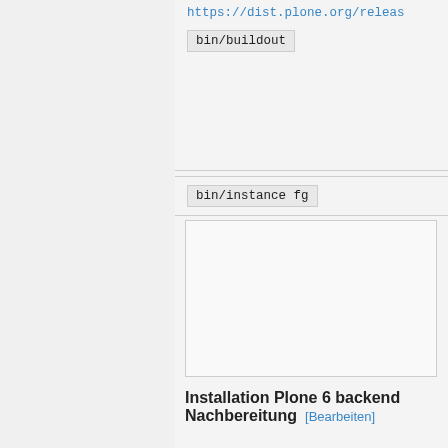https://dist.plone.org/releas...
bin/buildout
bin/instance fg
Installation Plone 6 backend Nachbereitung [Bearbeiten]